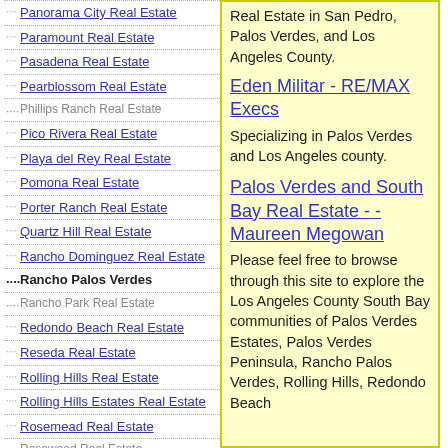Panorama City Real Estate
Paramount Real Estate
Pasadena Real Estate
Pearblossom Real Estate
Phillips Ranch Real Estate
Pico Rivera Real Estate
Playa del Rey Real Estate
Pomona Real Estate
Porter Ranch Real Estate
Quartz Hill Real Estate
Rancho Dominguez Real Estate
Rancho Palos Verdes
Rancho Park Real Estate
Redondo Beach Real Estate
Reseda Real Estate
Rolling Hills Real Estate
Rolling Hills Estates Real Estate
Rosemead Real Estate
Rosewood Real Estate
Rowland Heights Real Estate
San Dimas Real Estate
Real Estate in San Pedro, Palos Verdes, and Los Angeles County.
Eden Militar - RE/MAX Execs
Specializing in Palos Verdes and Los Angeles county.
Palos Verdes and South Bay Real Estate - -Maureen Megowan
Please feel free to browse through this site to explore the Los Angeles County South Bay communities of Palos Verdes Estates, Palos Verdes Peninsula, Rancho Palos Verdes, Rolling Hills, Redondo Beach